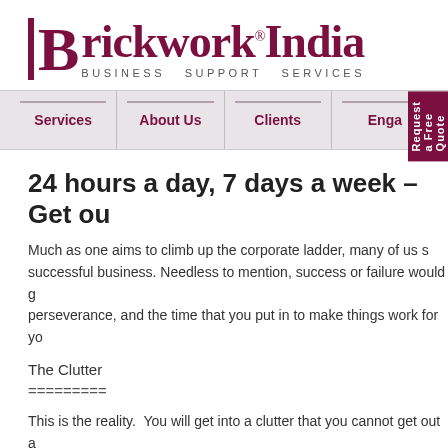[Figure (logo): Brickwork India Business Support Services logo — stylized B with bold red-maroon text and subtitle in spaced caps]
Services   About Us   Clients   Enga...   Request a Free Quote
24 hours a day, 7 days a week – Get ou...
Much as one aims to climb up the corporate ladder, many of us s... successful business. Needless to mention, success or failure would g... perseverance, and the time that you put in to make things work for yo...
The Clutter
=========
This is the reality.  You will get into a clutter that you cannot get out a... being time-pressed and stressed out. Having a full time job or runnin...